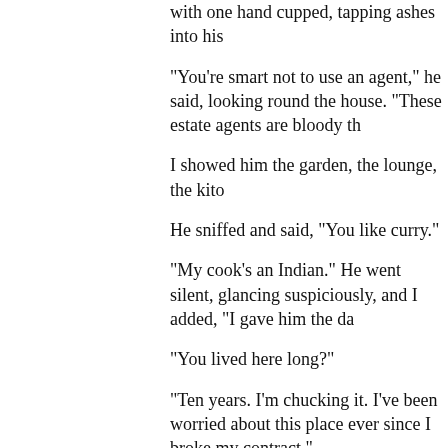with one hand cupped, tapping ashes into his
"You're smart not to use an agent," he said, looking round the house. "These estate agents are bloody th
I showed him the garden, the lounge, the kito
He sniffed and said, "You like curry."
"My cook's an Indian." He went silent, glancing suspiciously, and I added, "I gave him the da
"You lived here long?"
"Ten years. I'm chucking it. I've been worried about this place ever since I broke my contract."
"Rubber?" he said, and spat a fragment of the into his hand.
"Yes," I said. "I was manager of an estate up
He asked me the price and when I told him he manage that." He took out a checkbook. "I'll deposit now and the balance when contracts exchanged. We'll put our lawyers in touch an